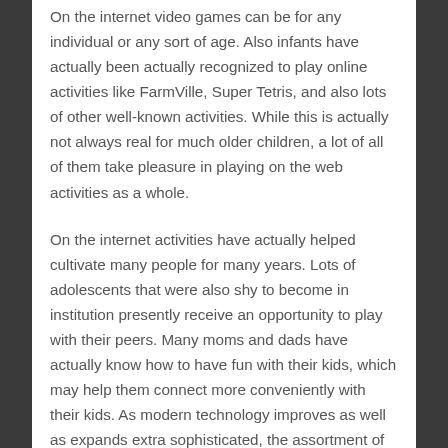On the internet video games can be for any individual or any sort of age. Also infants have actually been actually recognized to play online activities like FarmVille, Super Tetris, and also lots of other well-known activities. While this is actually not always real for much older children, a lot of all of them take pleasure in playing on the web activities as a whole.
On the internet activities have actually helped cultivate many people for many years. Lots of adolescents that were also shy to become in institution presently receive an opportunity to play with their peers. Many moms and dads have actually know how to have fun with their kids, which may help them connect more conveniently with their kids. As modern technology improves as well as expands extra sophisticated, the assortment of online games will certainly increase.